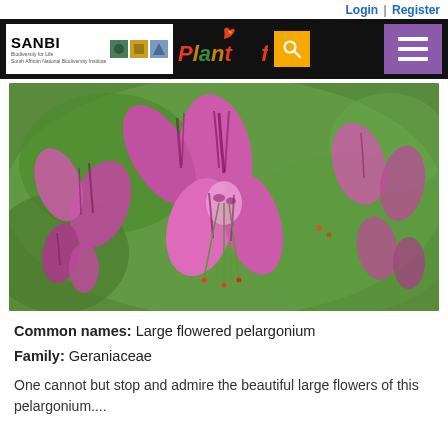Login | Register
[Figure (logo): SANBI and PlantZAfrica.com navigation header with search and menu icons]
[Figure (photo): Close-up photograph of large pink/purple pelargonium flowers with dark purple streaks on the petals, set against a blurred green background]
Common names: Large flowered pelargonium
Family: Geraniaceae
One cannot but stop and admire the beautiful large flowers of this pelargonium....